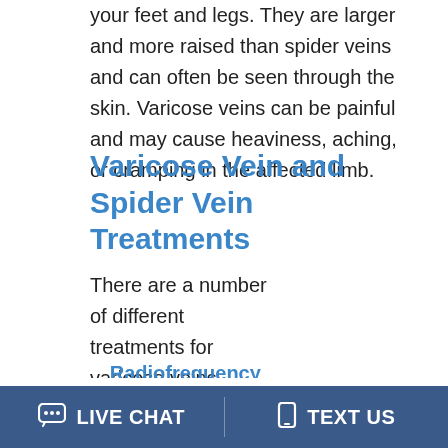your feet and legs. They are larger and more raised than spider veins and can often be seen through the skin. Varicose veins can be painful and may cause heaviness, aching, or cramping in the affected limb.
Varicose Vein and Spider Vein Treatments
There are a number of different treatments for varicose veins, depending on the severity of the problem. Some common treatments include:
Radiofrequency ablation
[Figure (other): Live chat agent widget overlay showing a speech bubble with three dots and a circular avatar of a smiling woman with 'Online Agent' label and green online indicator dot]
LIVE CHAT   TEXT US